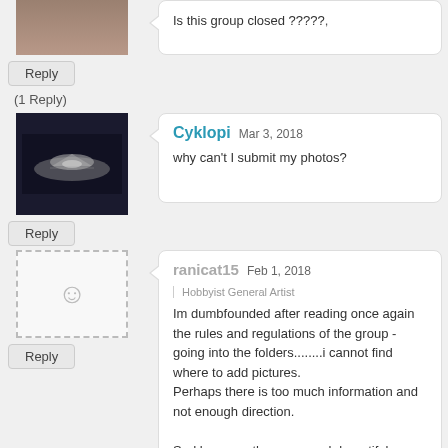Is this group closed ?????,
Reply
(1 Reply)
Cyklopi  Mar 3, 2018
why can't I submit my photos?
Reply
ranicat15  Feb 1, 2018  Hobbyist General Artist
Im dumbfounded after reading once again the rules and regulations of the group - going into the folders........i cannot find where to add pictures.
Perhaps there is too much information and not enough direction.

Sad because there are such beautiful pictures in here and ive a good set of pictures of the Dordogne in France to share also.....
Reply
BohemianWolfPrince  Aug 9, 2017  Hobbyist Writer
Why can't I submit art?